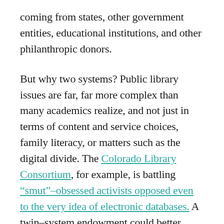coming from states, other government entities, educational institutions, and other philanthropic donors.
But why two systems? Public library issues are far, far more complex than many academics realize, and not just in terms of content and service choices, family literacy, or matters such as the digital divide. The Colorado Library Consortium, for example, is battling "smut"-obsessed activists opposed even to the very idea of electronic databases. A twin-system endowment could better respond to the vast cultural